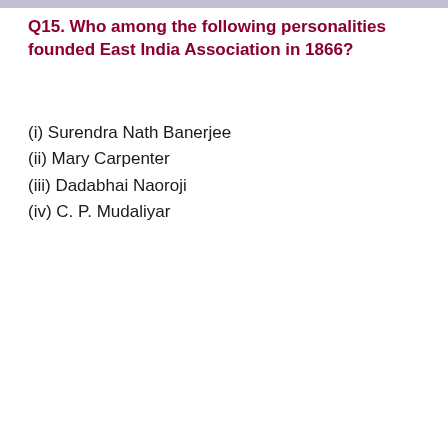Q15. Who among the following personalities founded East India Association in 1866?
(i) Surendra Nath Banerjee
(ii) Mary Carpenter
(iii) Dadabhai Naoroji
(iv) C. P. Mudaliyar